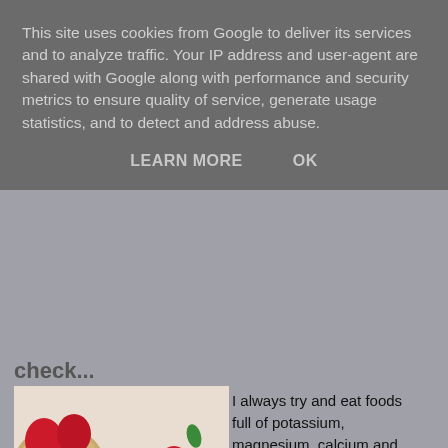This site uses cookies from Google to deliver its services and to analyze traffic. Your IP address and user-agent are shared with Google along with performance and security metrics to ensure quality of service, generate usage statistics, and to detect and address abuse.
LEARN MORE    OK
check...
[Figure (photo): Overhead photo of round crackers/rice cakes topped with peanut butter and fresh strawberries and raspberries]
I always try and eat foods full of potassium, magnesium, calcium and zinc as I know they are really important to nervous system health. I can get mood lows if I go periods without eating so I always carry a bag of